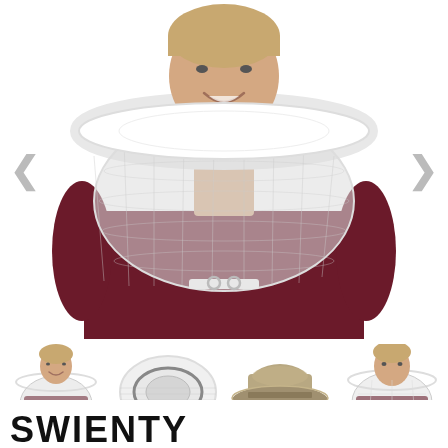[Figure (photo): Main product photo: man wearing a white beekeeping veil/hat with mesh net over his head and face, wearing a dark red/maroon long-sleeve shirt. White background. Navigation arrows on left and right sides.]
[Figure (photo): Thumbnail 1: man wearing white beekeeping veil, dark red shirt, front view.]
[Figure (photo): Thumbnail 2: top-down view of white beekeeping hat/veil folded flat, showing circular brim structure.]
[Figure (photo): Thumbnail 3: tan/khaki colored beekeeping hat with wide brim, no veil visible, side/top view.]
[Figure (photo): Thumbnail 4: man wearing beekeeping veil, partial side/front view, similar to thumbnail 1.]
SWIENTY